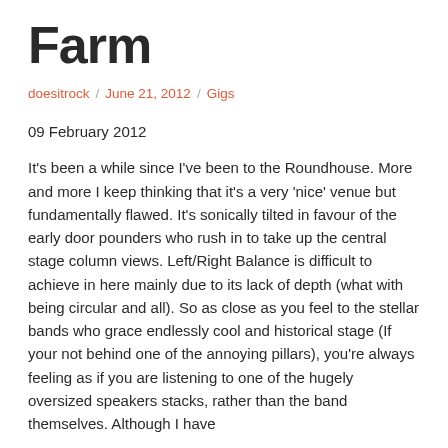Farm
doesitrock / June 21, 2012 / Gigs
09 February 2012
It's been a while since I've been to the Roundhouse. More and more I keep thinking that it's a very 'nice' venue but fundamentally flawed. It's sonically tilted in favour of the early door pounders who rush in to take up the central stage column views. Left/Right Balance is difficult to achieve in here mainly due to its lack of depth (what with being circular and all). So as close as you feel to the stellar bands who grace endlessly cool and historical stage (If your not behind one of the annoying pillars), you're always feeling as if you are listening to one of the hugely oversized speakers stacks, rather than the band themselves. Although I have